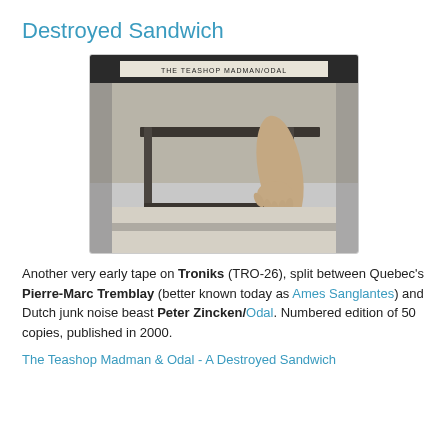Destroyed Sandwich
[Figure (photo): Black and white photograph of a metal frame/stand with a hand resting on it, with a banner reading 'THE TEASHOP MADMAN/ODAL' at the top]
Another very early tape on Troniks (TRO-26), split between Quebec's Pierre-Marc Tremblay (better known today as Ames Sanglantes) and Dutch junk noise beast Peter Zincken/Odal. Numbered edition of 50 copies, published in 2000.
The Teashop Madman & Odal - A Destroyed Sandwich